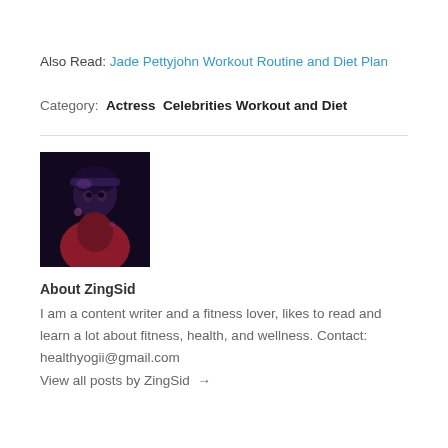Also Read: Jade Pettyjohn Workout Routine and Diet Plan
Category: Actress  Celebrities Workout and Diet
[Figure (photo): Dark stylized portrait photo of author ZingSid, wearing a headband, against dark background with purple/pink tones]
About ZingSid
I am a content writer and a fitness lover, likes to read and learn a lot about fitness, health, and wellness. Contact: healthyogii@gmail.com
View all posts by ZingSid →